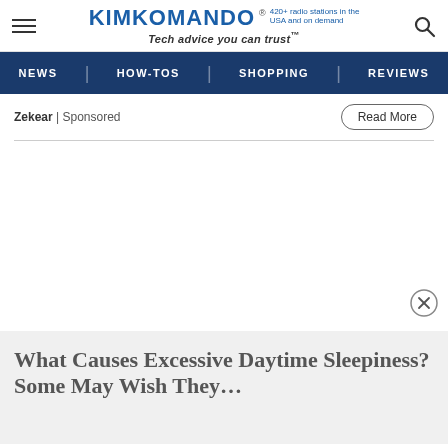KIMKOMANDO® 420+ radio stations in the USA and on demand Tech advice you can trust™
NEWS | HOW-TOS | SHOPPING | REVIEWS
Zekear | Sponsored
Read More
[Figure (other): Advertisement area with close button (X)]
What Causes Excessive Daytime Sleepiness? Some May Wish They…